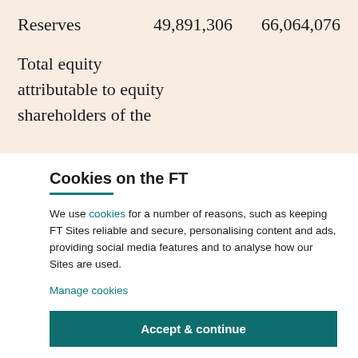| Reserves | 49,891,306 | 66,064,076 |
Total equity attributable to equity shareholders of the
Cookies on the FT
We use cookies for a number of reasons, such as keeping FT Sites reliable and secure, personalising content and ads, providing social media features and to analyse how our Sites are used.
Manage cookies
Accept & continue